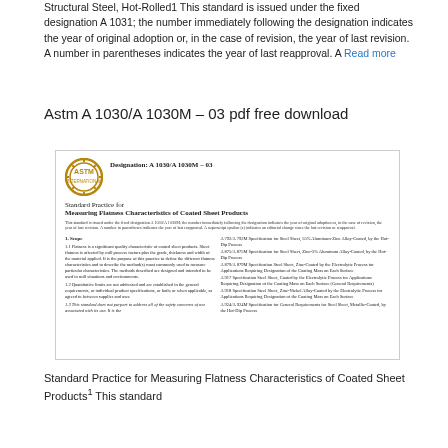Structural Steel, Hot-Rolled1 This standard is issued under the fixed designation A 1031; the number immediately following the designation indicates the year of original adoption or, in the case of revision, the year of last revision. A number in parentheses indicates the year of last reapproval. A Read more
Astm A 1030/A 1030M – 03 pdf free download
[Figure (screenshot): Screenshot of the ASTM A 1030/A 1030M – 03 standard document cover page, showing the ASTM International logo, designation, title 'Standard Practice for Measuring Flatness Characteristics of Coated Sheet Products', boilerplate text, and the beginning of Section 1 Scope with two columns of text.]
Standard Practice for Measuring Flatness Characteristics of Coated Sheet Products1 This standard